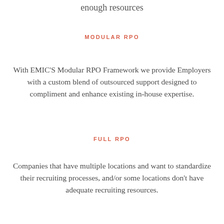enough resources
MODULAR RPO
With EMIC'S Modular RPO Framework we provide Employers with a custom blend of outsourced support designed to compliment and enhance existing in-house expertise.
FULL RPO
Companies that have multiple locations and want to standardize their recruiting processes, and/or some locations don't have adequate recruiting resources.